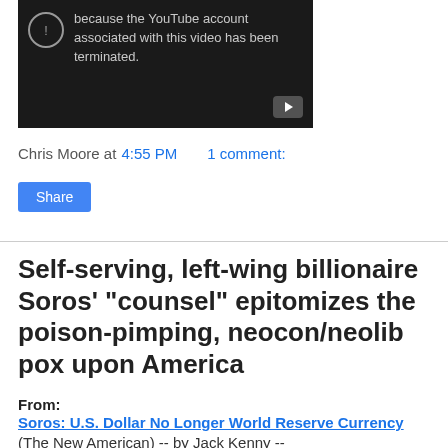[Figure (screenshot): YouTube video placeholder with terminated account message and play button. Dark background with exclamation icon and text saying 'because the YouTube account associated with this video has been terminated.']
Chris Moore at 4:55 PM   1 comment:
Share
Self-serving, left-wing billionaire Soros' "counsel" epitomizes the poison-pimping, neocon/neolib pox upon America
From:
Soros: U.S. Dollar No Longer World Reserve Currency
(The New American) -- by Jack Kenny --